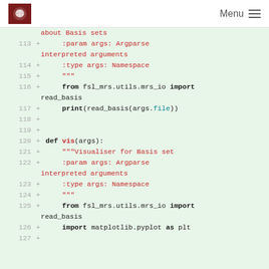Menu
[Figure (screenshot): Code diff view showing Python source lines 113-127 with additions marked by + signs. Lines show docstrings, import statements for fsl_mrs.utils.mrs_io, print and def vis function definitions.]